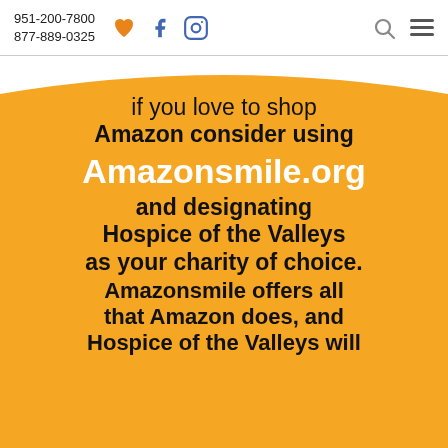951-200-7800  877-889-0325
[Figure (infographic): Orange banner with text promoting AmazonSmile.org for Hospice of the Valleys donations. Text reads: if you love to shop Amazon consider using Amazonsmile.org and designating Hospice of the Valleys as your charity of choice. Amazonsmile offers all that Amazon does, and Hospice of the Valleys will]